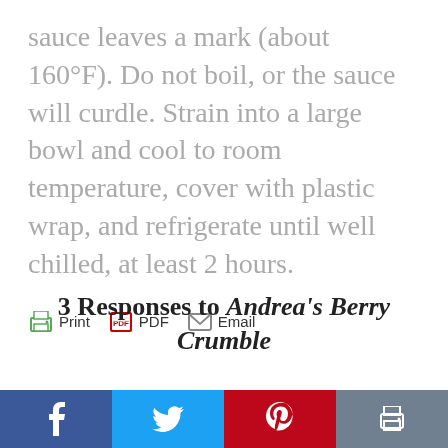sauce leaves a mark (about 160°F). Do not boil, or the sauce will curdle. Strain into a large bowl and cool to room temperature, cover with plastic wrap, and refrigerate until well chilled, at least 2 hours.
[Figure (other): Toolbar with Print, PDF, and Email icons and labels]
3 Responses to Andrea's Berry Crumble
[Figure (infographic): Social sharing bar with Facebook, Twitter, Pinterest, and Print buttons]